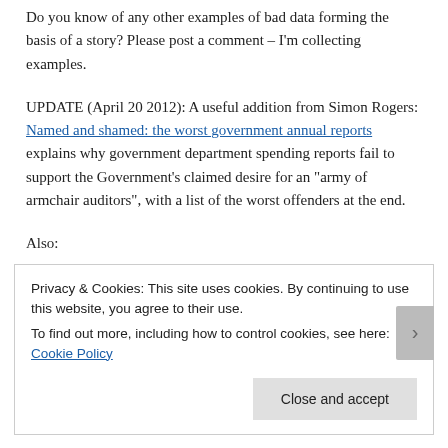Do you know of any other examples of bad data forming the basis of a story? Please post a comment – I'm collecting examples.
UPDATE (April 20 2012): A useful addition from Simon Rogers: Named and shamed: the worst government annual reports explains why government department spending reports fail to support the Government's claimed desire for an "army of armchair auditors", with a list of the worst offenders at the end.
Also:
Privacy & Cookies: This site uses cookies. By continuing to use this website, you agree to their use.
To find out more, including how to control cookies, see here: Cookie Policy